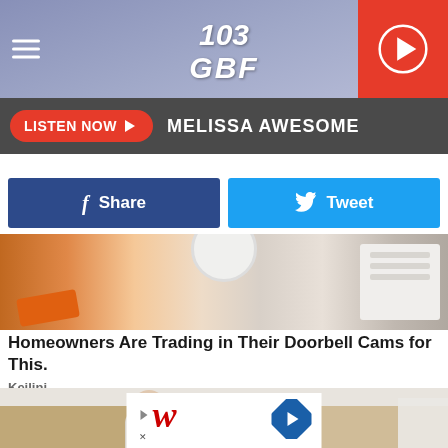103 GBF
LISTEN NOW ▶  MELISSA AWESOME
f Share   🐦 Tweet
[Figure (photo): Close-up of hands holding a round security device with orange tool and white panels with holes in the background]
Homeowners Are Trading in Their Doorbell Cams for This.
Keilini
[Figure (photo): Person painting a room wall white, seen from behind, with a Walgreens advertisement overlay at the bottom]